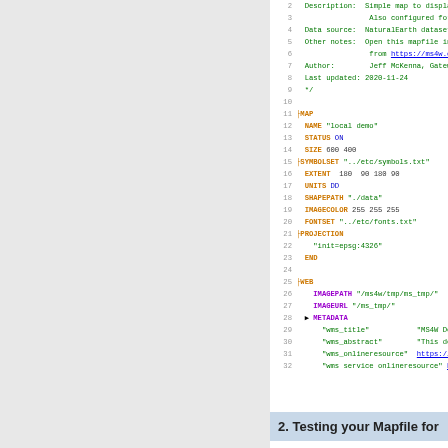[Figure (screenshot): Code editor screenshot showing lines 2-32 of a MapServer mapfile with syntax highlighting. Orange keywords, blue values, green strings and comments.]
2. Testing your Mapfile for
If optimization and performance a the MapServer commandline utili mapfile creates a valid map imag time it takes MapServer to proce the map_debug 2 setting: